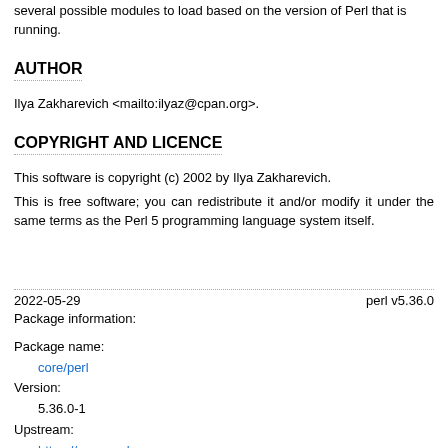several possible modules to load based on the version of Perl that is running.
AUTHOR
Ilya Zakharevich <mailto:ilyaz@cpan.org>.
COPYRIGHT AND LICENCE
This software is copyright (c) 2002 by Ilya Zakharevich.
This is free software; you can redistribute it and/or modify it under the same terms as the Perl 5 programming language system itself.
2022-05-29    perl v5.36.0
Package information:
Package name:
    core/perl
Version:
    5.36.0-1
Upstream:
    https://www.perl.org
Licenses: